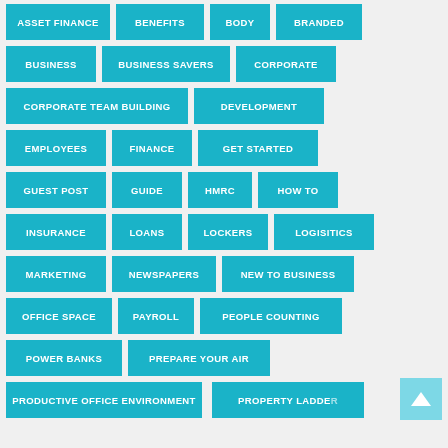[Figure (infographic): Tag cloud / category button grid with teal/cyan colored buttons on a light gray background. Tags include: ASSET FINANCE, BENEFITS, BODY, BRANDED, BUSINESS, BUSINESS SAVERS, CORPORATE, CORPORATE TEAM BUILDING, DEVELOPMENT, EMPLOYEES, FINANCE, GET STARTED, GUEST POST, GUIDE, HMRC, HOW TO, INSURANCE, LOANS, LOCKERS, LOGISITICS, MARKETING, NEWSPAPERS, NEW TO BUSINESS, OFFICE SPACE, PAYROLL, PEOPLE COUNTING, POWER BANKS, PREPARE YOUR AIR, PRODUCTIVE OFFICE ENVIRONMENT, PROPERTY LADDER. A back-to-top arrow button appears in the lower right.]